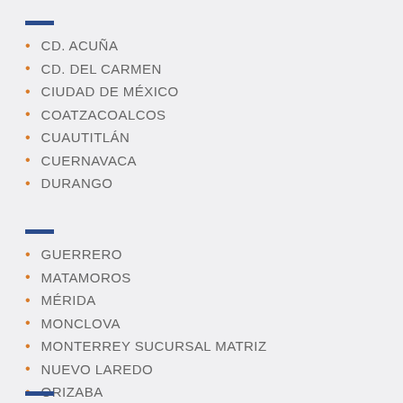CD. ACUÑA
CD. DEL CARMEN
CIUDAD DE MÉXICO
COATZACOALCOS
CUAUTITLÁN
CUERNAVACA
DURANGO
GUERRERO
MATAMOROS
MÉRIDA
MONCLOVA
MONTERREY SUCURSAL MATRIZ
NUEVO LAREDO
ORIZABA